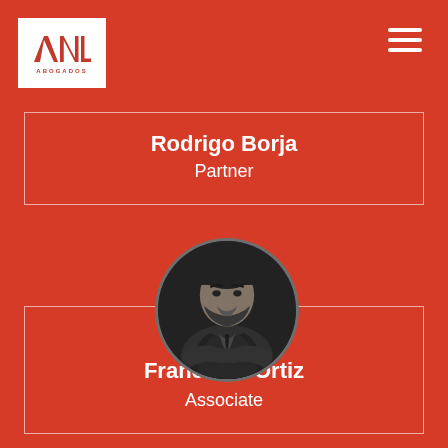[Figure (logo): AVL Abogados logo - white box with red geometric 'AVL' letters and 'ABOGADOS' text below]
Rodrigo Borja
Partner
[Figure (photo): Circular black and white portrait photo of Francisco Ortiz, a man in a suit with crossed arms, smiling]
Francisco Ortiz
Associate